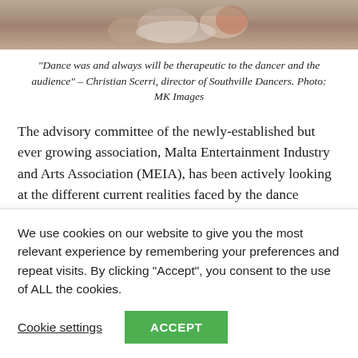[Figure (photo): Cropped photo of dancers, partially visible at the top of the page]
“Dance was and always will be therapeutic to the dancer and the audience” – Christian Scerri, director of Southville Dancers. Photo: MK Images
The advisory committee of the newly-established but ever growing association, Malta Entertainment Industry and Arts Association (MEIA), has been actively looking at the different current realities faced by the dance community. The association, chaired by Theresa Lungaro-Mifsud, represents hundreds of members from the 10 main sectors in the arts and entertainment
We use cookies on our website to give you the most relevant experience by remembering your preferences and repeat visits. By clicking “Accept”, you consent to the use of ALL the cookies.